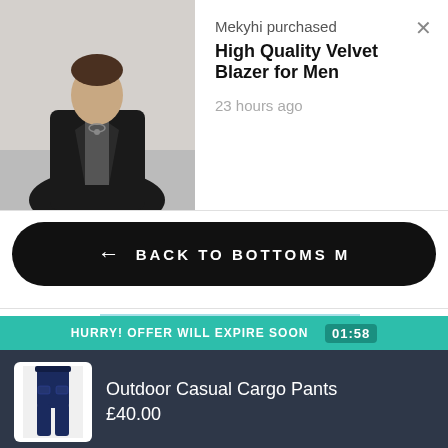[Figure (photo): Man wearing black velvet blazer, notification image]
Mekyhi purchased
High Quality Velvet Blazer for Men
23 hours ago
✕
← BACK TO BOTTOMS M
[Figure (screenshot): Partial product image visible behind popup — teal and dark triangular graphic]
HURRY! OFFER WILL EXPIRE SOON 01:58
[Figure (photo): Thumbnail of navy cargo pants]
Outdoor Casual Cargo Pants
£40.00
4 XL
NAVY
Buy Now